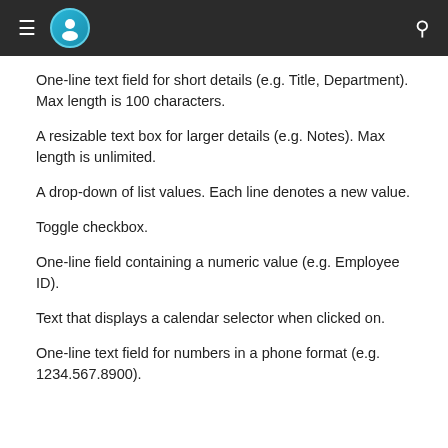Navigation header with menu icon, avatar icon, and search icon
One-line text field for short details (e.g. Title, Department). Max length is 100 characters.
A resizable text box for larger details (e.g. Notes). Max length is unlimited.
A drop-down of list values. Each line denotes a new value.
Toggle checkbox.
One-line field containing a numeric value (e.g. Employee ID).
Text that displays a calendar selector when clicked on.
One-line text field for numbers in a phone format (e.g. 1234.567.8900).